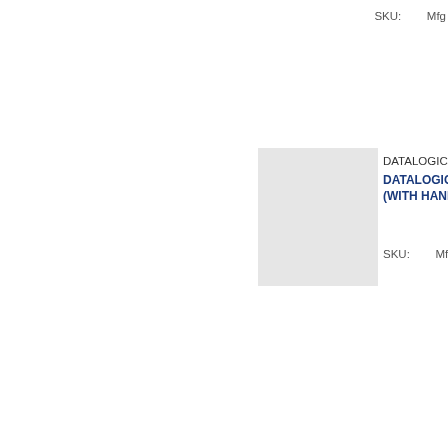SKU:        Mfg
[Figure (photo): Product image placeholder box - gray rectangle for Datalogic product 1]
DATALOGIC
DATALOGIC (WITH HAND
SKU:        Mfg
DATALOGIC
DATALOGIC 2D IMAGER
SKU:        Mfg
[Figure (photo): Product image placeholder box - gray rectangle for Datalogic product 3]
DATALOGIC
DATALOGIC RANGE 2D I
SKU:        Mfg